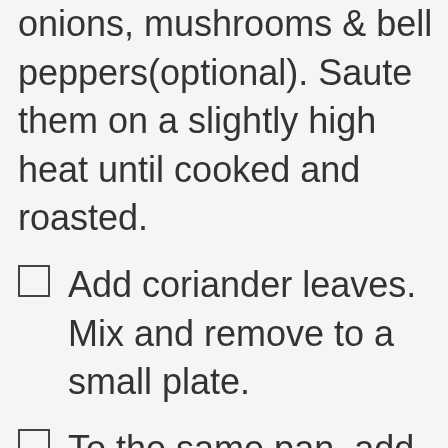onions, mushrooms & bell peppers(optional). Saute them on a slightly high heat until cooked and roasted.
Add coriander leaves. Mix and remove to a small plate.
To the same pan, add the rest of the oil and reduce the flame to medium. Pour